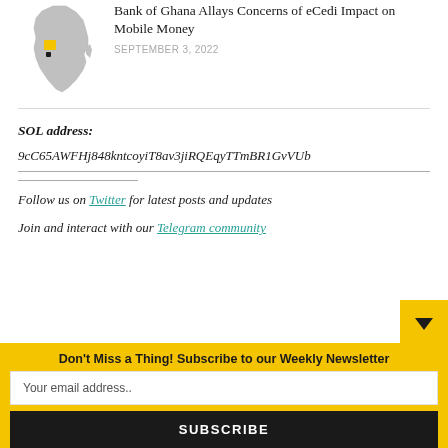[Figure (map): Map of Africa with Ghana highlighted in yellow]
Bank of Ghana Allays Concerns of eCedi Impact on Mobile Money
SEPTEMBER 3, 2022
SOL address: 9cC65AWFHj848kntcoyiT8av3jiRQEqyTTmBR1GvVUb
Follow us on Twitter for latest posts and updates
Join and interact with our Telegram community
Don't Miss a Thing! Subscribe to our Weekly Newsletter
Your email address..
SUBSCRIBE